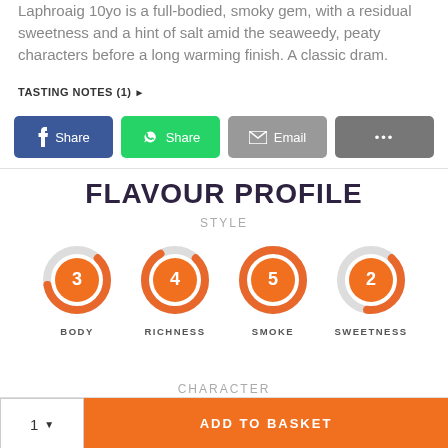Laphroaig 10yo is a full-bodied, smoky gem, with a residual sweetness and a hint of salt amid the seaweedy, peaty characters before a long warming finish. A classic dram.
TASTING NOTES (1) ▶
[Figure (screenshot): Social share buttons: Facebook Share (blue), WhatsApp Share (green), Email (grey), More options (dark grey)]
FLAVOUR PROFILE
STYLE
[Figure (infographic): Four donut-style gauges showing: BODY=3, RICHNESS=4, SMOKE=5, SWEETNESS=2. Orange filled arcs with orange center circles showing numeric values, grey unfilled portions.]
CHARACTER
1  ADD TO BASKET